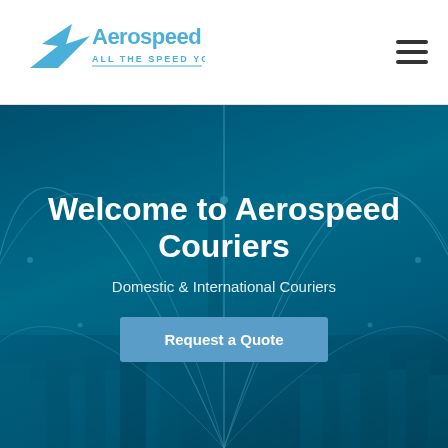[Figure (logo): Aerospeed Couriers logo with blue diagonal arrow/plane graphic and tagline ALL THE SPEED YOU NEED]
[Figure (other): Hamburger menu icon (three horizontal lines)]
[Figure (photo): Hero banner with teal/dark blue background showing a city skyline with network arc connection lines overlaid. Contains heading, subtitle, and call-to-action button.]
Welcome to Aerospeed Couriers
Domestic & International Couriers
Request a Quote